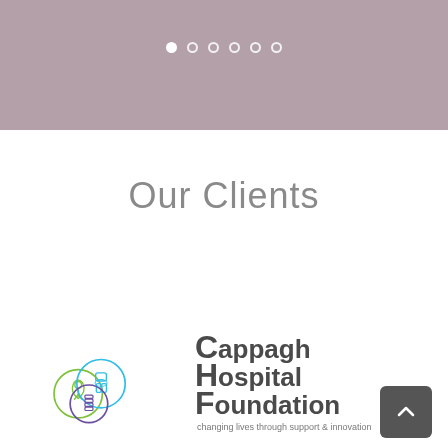[Figure (other): Mauve/dusty-rose hero banner with six pagination dots (first dot filled white, others outlined white)]
Our Clients
[Figure (logo): Cappagh Hospital Foundation logo with three overlapping circles (blue with knee joint, green with hip joint, purple with spine) and text 'Cappagh Hospital Foundation — changing lives through support & innovation']